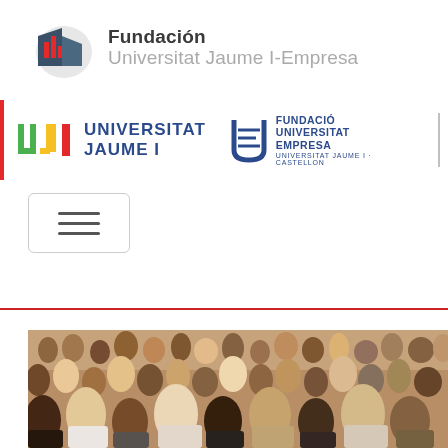[Figure (logo): Fundación Universitat Jaume I-Empresa logo with building/chart icon]
[Figure (logo): Universitat Jaume I and Fundació Universitat Empresa partner logos with colored UJI letters and vertical separator]
[Figure (other): Hamburger/menu toggle button with three horizontal lines]
[Figure (photo): Large audience/crowd of people seated in an auditorium or lecture hall, viewed from slightly above and to the side]